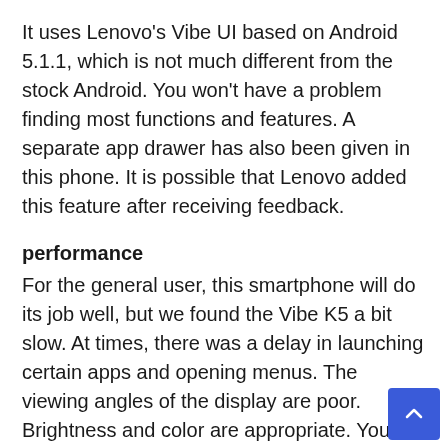It uses Lenovo's Vibe UI based on Android 5.1.1, which is not much different from the stock Android. You won't have a problem finding most functions and features. A separate app drawer has also been given in this phone. It is possible that Lenovo added this feature after receiving feedback.
performance
For the general user, this smartphone will do its job well, but we found the Vibe K5 a bit slow. At times, there was a delay in launching certain apps and opening menus. The viewing angles of the display are poor. Brightness and color are appropriate. You won't have any complaints with the 720×1280 pixels resolution in this screen size. The rear speakers are capable of